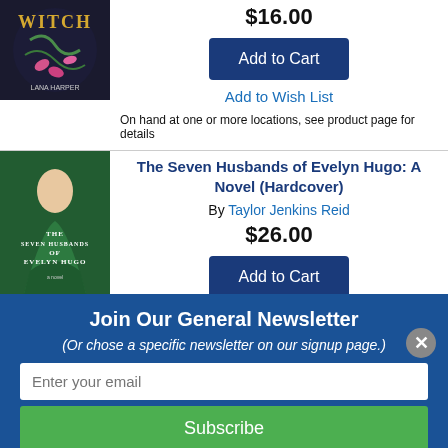[Figure (illustration): Book cover for a witch-themed book by Lana Harper, dark background with pink floral elements, partially visible (top cropped)]
$16.00
Add to Cart
Add to Wish List
On hand at one or more locations, see product page for details
[Figure (illustration): Book cover for The Seven Husbands of Evelyn Hugo: A Novel by Taylor Jenkins Reid, green toned cover showing a woman in a green dress]
The Seven Husbands of Evelyn Hugo: A Novel (Hardcover)
By Taylor Jenkins Reid
$26.00
Add to Cart
Join Our General Newsletter
(Or chose a specific newsletter on our signup page.)
Enter your email
Subscribe